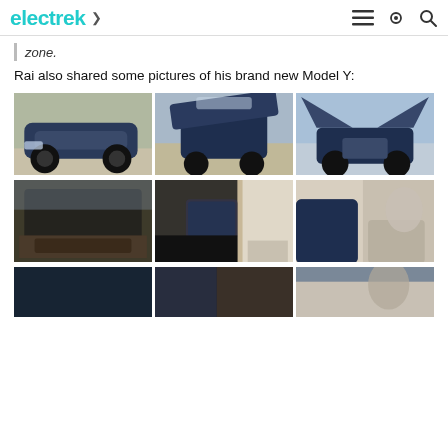electrek
zone.
Rai also shared some pictures of his brand new Model Y:
[Figure (photo): Three photos of a blue Tesla Model Y exterior: front-side view, front hood open, and rear falcon-wing doors open in a driveway setting.]
[Figure (photo): Three photos of a blue Tesla Model Y interior: trunk/cargo area open, dashboard and screen, and rear seat view.]
[Figure (photo): Three partially visible photos of the Tesla Model Y showing window, door, and interior.]